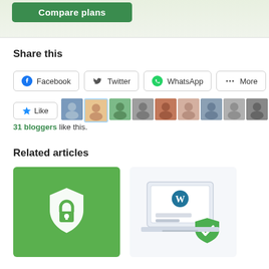[Figure (screenshot): Green Compare plans button on a light green/grey banner background]
Share this
[Figure (infographic): Row of social share buttons: Facebook, Twitter, WhatsApp, More; followed by a Like button and a row of blogger avatars]
31 bloggers like this.
Related articles
[Figure (illustration): Green card with a white shield and lock icon]
[Figure (illustration): WordPress laptop with a green shield and checkmark icon]